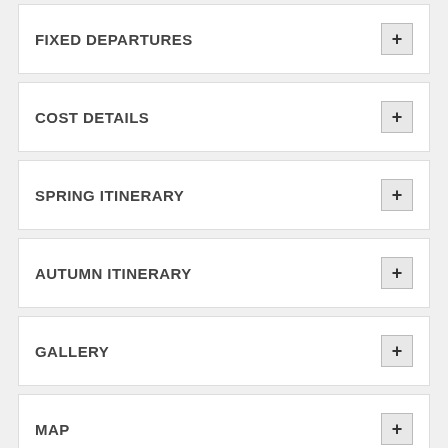FIXED DEPARTURES
COST DETAILS
SPRING ITINERARY
AUTUMN ITINERARY
GALLERY
MAP
BOOK THIS TRIP
CUSTOMIZE TRIP
PRINT AND PDF